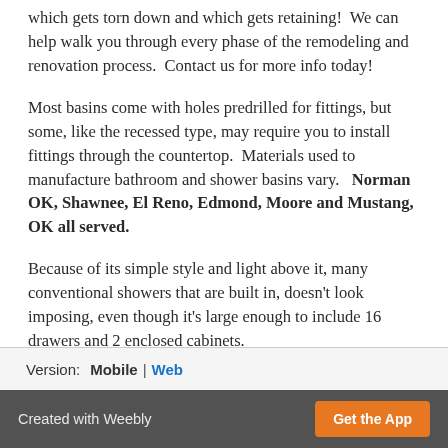which gets torn down and which gets retaining!  We can help walk you through every phase of the remodeling and renovation process.  Contact us for more info today!
Most basins come with holes predrilled for fittings, but some, like the recessed type, may require you to install fittings through the countertop.  Materials used to manufacture bathroom and shower basins vary.   Norman OK, Shawnee, El Reno, Edmond, Moore and Mustang, OK all served.
Because of its simple style and light above it, many conventional showers that are built in, doesn't look imposing, even though it's large enough to include 16 drawers and 2 enclosed cabinets.
Version:   Mobile | Web
Created with Weebly   Get the App